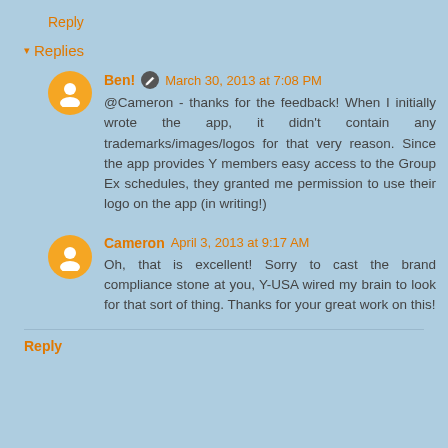Reply
▾ Replies
Ben! ✏ March 30, 2013 at 7:08 PM
@Cameron - thanks for the feedback! When I initially wrote the app, it didn't contain any trademarks/images/logos for that very reason. Since the app provides Y members easy access to the Group Ex schedules, they granted me permission to use their logo on the app (in writing!)
Cameron April 3, 2013 at 9:17 AM
Oh, that is excellent! Sorry to cast the brand compliance stone at you, Y-USA wired my brain to look for that sort of thing. Thanks for your great work on this!
Reply